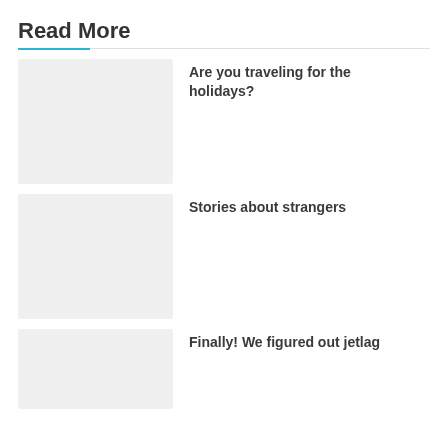Read More
Are you traveling for the holidays?
[Figure (photo): Placeholder image for article 1]
Stories about strangers
[Figure (photo): Placeholder image for article 2]
Finally! We figured out jetlag
[Figure (photo): Placeholder image for article 3]